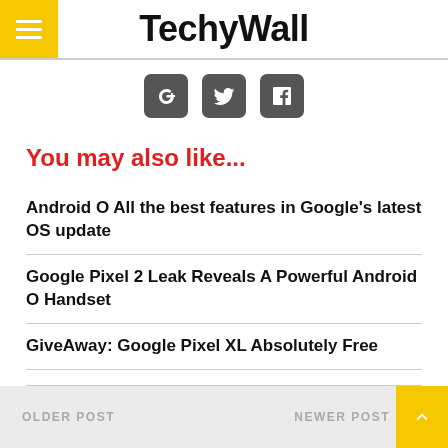TechyWall
[Figure (logo): Social media icons: Google+, Twitter, Facebook]
You may also like...
Android O All the best features in Google's latest OS update
Google Pixel 2 Leak Reveals A Powerful Android O Handset
GiveAway: Google Pixel XL Absolutely Free
OLDER POST   NEWER POST